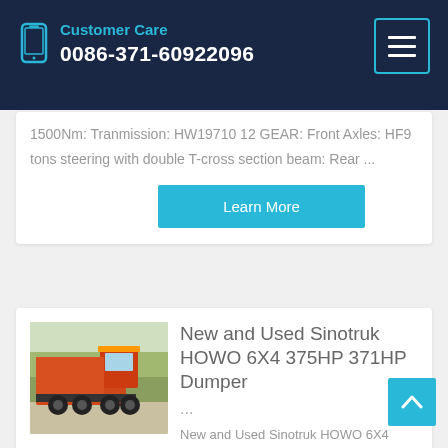Customer Care 0086-371-60922096
1500Nm: Tranmission: HW19710 12 GEAR: Front Axles: HF9 tons steering with double T-cross section beam: Rear ...
Learn More
New and Used Sinotruk HOWO 6X4 375HP 371HP Dumper ...
[Figure (photo): Photo of red Sinotruk HOWO dump trucks parked in a lot with trees in background]
New and Used Sinotruk HOWO 6X4